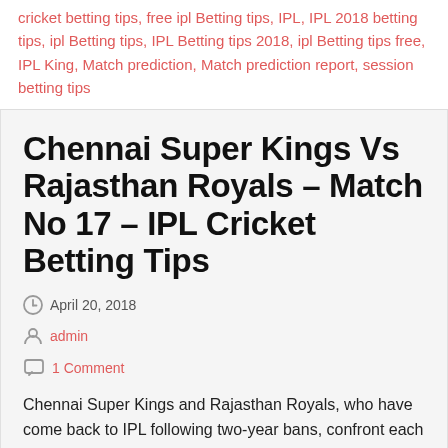cricket betting tips, free ipl Betting tips, IPL, IPL 2018 betting tips, ipl Betting tips, IPL Betting tips 2018, ipl Betting tips free, IPL King, Match prediction, Match prediction report, session betting tips
Chennai Super Kings Vs Rajasthan Royals – Match No 17 – IPL Cricket Betting Tips
April 20, 2018
admin
1 Comment
Chennai Super Kings and Rajasthan Royals, who have come back to IPL following two-year bans, confront each other for